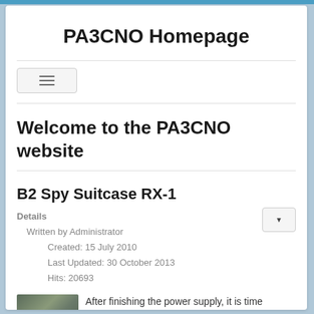PA3CNO Homepage
[Figure (other): Navigation toggle button with three horizontal lines (hamburger menu icon)]
Welcome to the PA3CNO website
B2 Spy Suitcase RX-1
Details
  Written by Administrator
    Created: 15 July 2010
    Last Updated: 30 October 2013
    Hits: 20693
After finishing the power supply, it is time